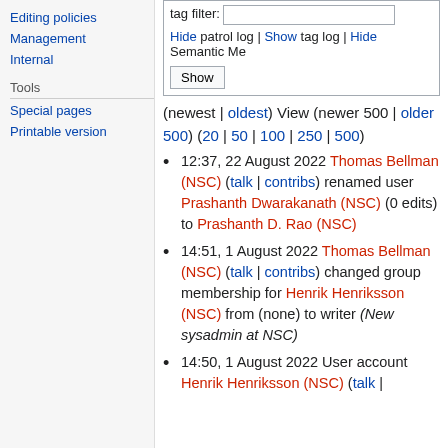Editing policies
Management
Internal
Tools
Special pages
Printable version
tag filter: [input]
Hide patrol log | Show tag log | Hide Semantic Me...
Show [button]
(newest | oldest) View (newer 500 | older 500) (20 | 50 | 100 | 250 | 500)
12:37, 22 August 2022 Thomas Bellman (NSC) (talk | contribs) renamed user Prashanth Dwarakanath (NSC) (0 edits) to Prashanth D. Rao (NSC)
14:51, 1 August 2022 Thomas Bellman (NSC) (talk | contribs) changed group membership for Henrik Henriksson (NSC) from (none) to writer (New sysadmin at NSC)
14:50, 1 August 2022 User account Henrik Henriksson (NSC) (talk |